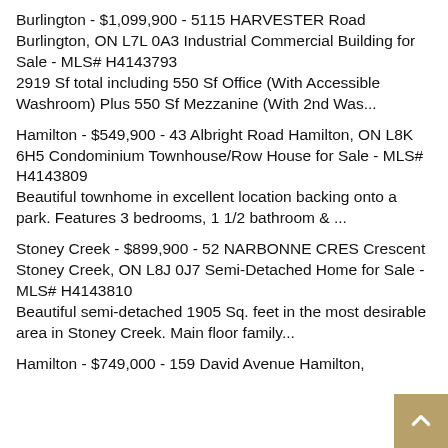Burlington - $1,099,900 - 5115 HARVESTER Road Burlington, ON L7L 0A3 Industrial Commercial Building for Sale - MLS# H4143793
2919 Sf total including 550 Sf Office (With Accessible Washroom) Plus 550 Sf Mezzanine (With 2nd Was...
Hamilton - $549,900 - 43 Albright Road Hamilton, ON L8K 6H5 Condominium Townhouse/Row House for Sale - MLS# H4143809
Beautiful townhome in excellent location backing onto a park. Features 3 bedrooms, 1 1/2 bathroom & ...
Stoney Creek - $899,900 - 52 NARBONNE CRES Crescent Stoney Creek, ON L8J 0J7 Semi-Detached Home for Sale - MLS# H4143810
Beautiful semi-detached 1905 Sq. feet in the most desirable area in Stoney Creek. Main floor family...
Hamilton - $749,000 - 159 David Avenue Hamilton,